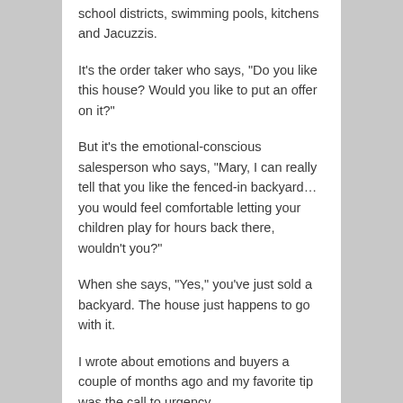school districts, swimming pools, kitchens and Jacuzzis.
It's the order taker who says, “Do you like this house? Would you like to put an offer on it?”
But it’s the emotional-conscious salesperson who says, “Mary, I can really tell that you like the fenced-in backyard… you would feel comfortable letting your children play for hours back there, wouldn’t you?”
When she says, “Yes,” you’ve just sold a backyard. The house just happens to go with it.
I wrote about emotions and buyers a couple of months ago and my favorite tip was the call to urgency.